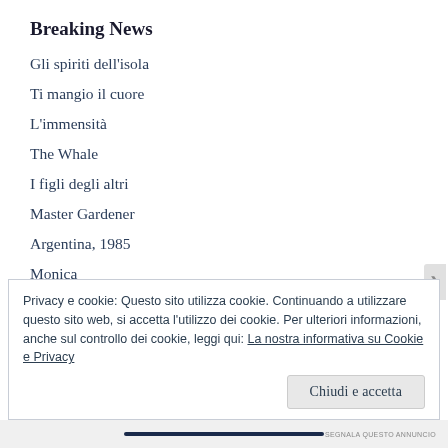Breaking News
Gli spiriti dell'isola
Ti mangio il cuore
L'immensità
The Whale
I figli degli altri
Master Gardener
Argentina, 1985
Monica
Privacy e cookie: Questo sito utilizza cookie. Continuando a utilizzare questo sito web, si accetta l'utilizzo dei cookie. Per ulteriori informazioni, anche sul controllo dei cookie, leggi qui: La nostra informativa su Cookie e Privacy
Chiudi e accetta